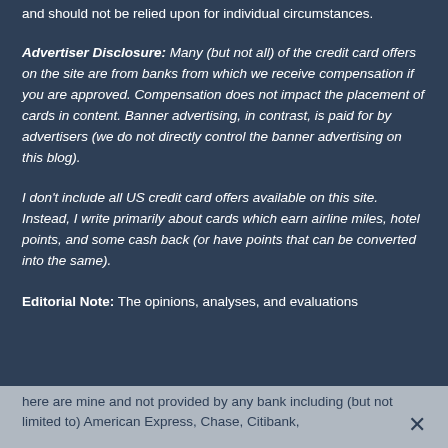and should not be relied upon for individual circumstances.
Advertiser Disclosure: Many (but not all) of the credit card offers on the site are from banks from which we receive compensation if you are approved. Compensation does not impact the placement of cards in content. Banner advertising, in contrast, is paid for by advertisers (we do not directly control the banner advertising on this blog).
I don't include all US credit card offers available on this site. Instead, I write primarily about cards which earn airline miles, hotel points, and some cash back (or have points that can be converted into the same).
Editorial Note: The opinions, analyses, and evaluations here are mine and not provided by any bank including (but not limited to) American Express, Chase, Citibank,